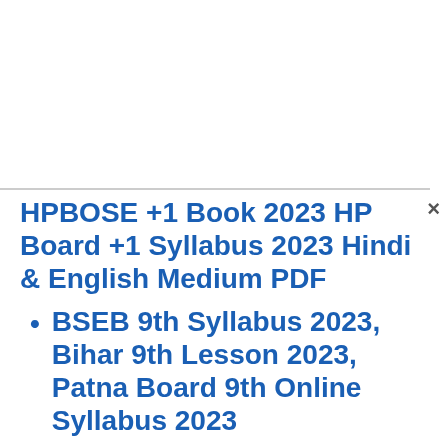HPBOSE +1 Book 2023 HP Board +1 Syllabus 2023 Hindi & English Medium PDF
BSEB 9th Syllabus 2023, Bihar 9th Lesson 2023, Patna Board 9th Online Syllabus 2023
HPBOSE 9th Syllabus 2023, HP Board 9th Lesson 2023, HPBOSE 9th Online Syllabus